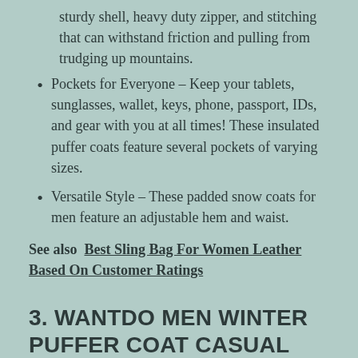sturdy shell, heavy duty zipper, and stitching that can withstand friction and pulling from trudging up mountains.
Pockets for Everyone – Keep your tablets, sunglasses, wallet, keys, phone, passport, IDs, and gear with you at all times! These insulated puffer coats feature several pockets of varying sizes.
Versatile Style – These padded snow coats for men feature an adjustable hem and waist.
See also  Best Sling Bag For Women Leather Based On Customer Ratings
3. WANTDO MEN WINTER PUFFER COAT CASUAL FUR HOODED WARM OUTWEAR JACKET BLACK MEDIUM